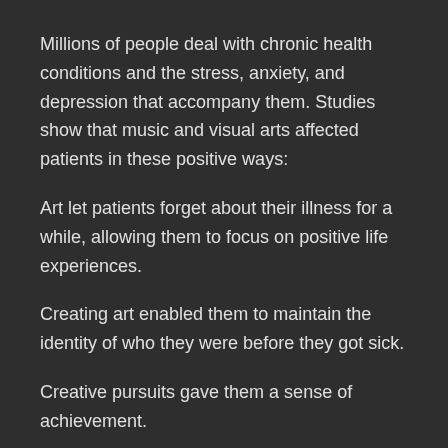Millions of people deal with chronic health conditions and the stress, anxiety, and depression that accompany them. Studies show that music and visual arts affected patients in these positive ways:
Art let patients forget about their illness for a while, allowing them to focus on positive life experiences.
Creating art enabled them to maintain the identity of who they were before they got sick.
Creative pursuits gave them a sense of achievement.
The creation process helped patients express their feelings.